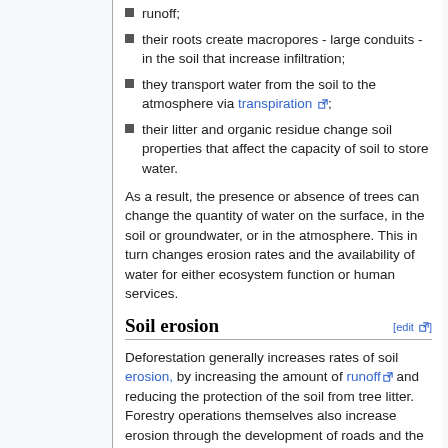runoff;
their roots create macropores - large conduits - in the soil that increase infiltration;
they transport water from the soil to the atmosphere via transpiration;
their litter and organic residue change soil properties that affect the capacity of soil to store water.
As a result, the presence or absence of trees can change the quantity of water on the surface, in the soil or groundwater, or in the atmosphere. This in turn changes erosion rates and the availability of water for either ecosystem function or human services.
Soil erosion
Deforestation generally increases rates of soil erosion, by increasing the amount of runoff and reducing the protection of the soil from tree litter. Forestry operations themselves also increase erosion through the development of roads and the use of mechanized equipment.